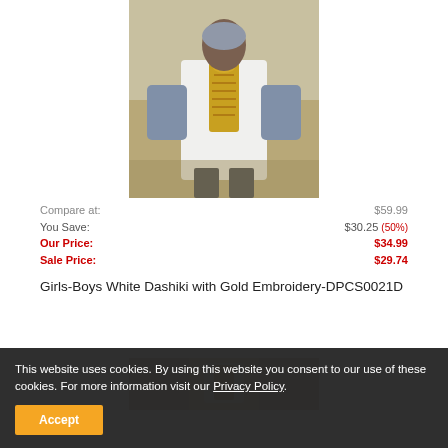[Figure (photo): Child wearing a white dashiki with gold embroidery, photographed outdoors]
Compare at: $59.99
You Save: $30.25 (50%)
Our Price: $34.99
Sale Price: $29.74
Girls-Boys White Dashiki with Gold Embroidery-DPCS0021D
[Figure (photo): Second product image partially visible]
This website uses cookies. By using this website you consent to our use of these cookies. For more information visit our Privacy Policy.